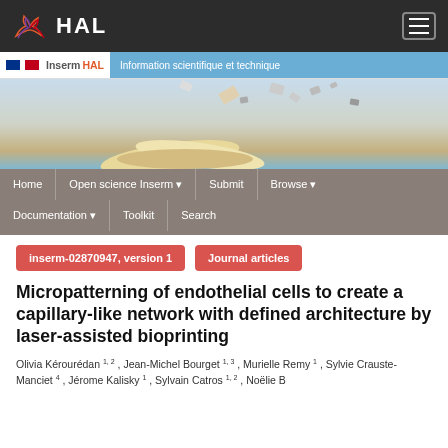[Figure (screenshot): HAL open archive website header with logo and hamburger menu on dark background]
[Figure (screenshot): InsermHAL banner with French flags, tagline 'Information scientifique et technique', navigation menu with Home, Open science Inserm, Submit, Browse, Documentation, Toolkit, Search]
inserm-02870947, version 1
Journal articles
Micropatterning of endothelial cells to create a capillary-like network with defined architecture by laser-assisted bioprinting
Olivia Kérourédan 1, 2 , Jean-Michel Bourget 1, 3 , Murielle Remy 1 , Sylvie Crauste-Manciet 4 , Jérome Kalisky 1 , Sylvain Catros 1, 2 , Noëlie B